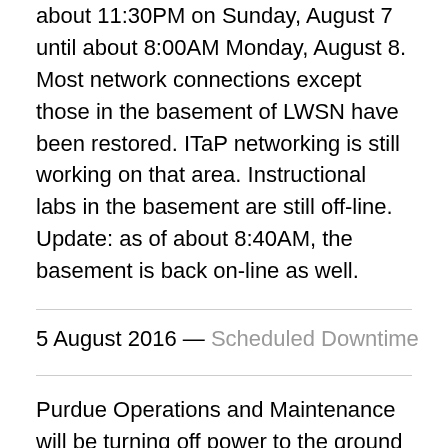about 11:30PM on Sunday, August 7 until about 8:00AM Monday, August 8. Most network connections except those in the basement of LWSN have been restored. ITaP networking is still working on that area. Instructional labs in the basement are still off-line. Update: as of about 8:40AM, the basement is back on-line as well.
5 August 2016 — Scheduled Downtime
Purdue Operations and Maintenance will be turning off power to the ground floor of HAAS Hall on Friday morning, August 5 from 6:00 AM to 7:00AM. During this time, computers in the basement will be without power and unavailable. This includes the two instructional labs HAAS 246 and HAAS 256...